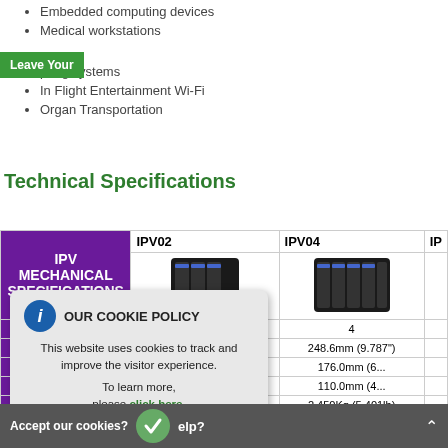Embedded computing devices
Medical workstations
pring systems
In Flight Entertainment Wi-Fi
Organ Transportation
Technical Specifications
| IPV MECHANICAL SPECIFICATIONS | IPV02 | IPV04 | IP... |
| --- | --- | --- | --- |
|  | 2 | 4 |  |
|  | 2.1mm (5.988") | 248.6mm (9.787") |  |
|  |  | 176.0mm (6... |  |
|  |  | 110.0mm (4... |  |
|  | 575Kg (3.472lb) | 2.450Kg (5.401lb) |  |
|  | 515Kg (5.544lb) | 4.330Kg (9.546lb) |  |
|  |  | No |  |
OUR COOKIE POLICY — This website uses cookies to track and improve the visitor experience. To learn more, please click here.
Accept our cookies?   elp?